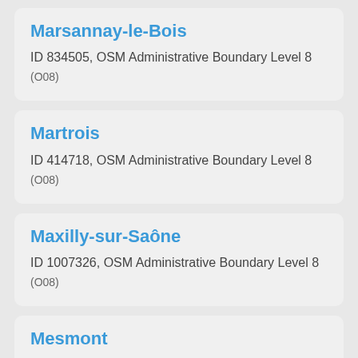Marsannay-le-Bois
ID 834505, OSM Administrative Boundary Level 8 (O08)
Martrois
ID 414718, OSM Administrative Boundary Level 8 (O08)
Maxilly-sur-Saône
ID 1007326, OSM Administrative Boundary Level 8 (O08)
Mesmont